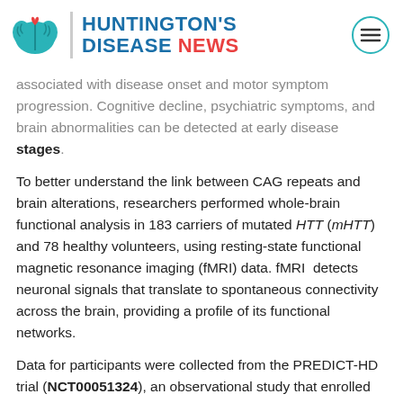HUNTINGTON'S DISEASE NEWS
associated with disease onset and motor symptom progression. Cognitive decline, psychiatric symptoms, and brain abnormalities can be detected at early disease stages.
To better understand the link between CAG repeats and brain alterations, researchers performed whole-brain functional analysis in 183 carriers of mutated HTT (mHTT) and 78 healthy volunteers, using resting-state functional magnetic resonance imaging (fMRI) data. fMRI detects neuronal signals that translate to spontaneous connectivity across the brain, providing a profile of its functional networks.
Data for participants were collected from the PREDICT-HD trial (NCT00051324), an observational study that enrolled 1,500 people with